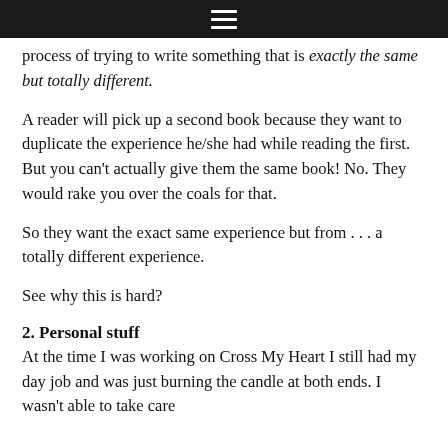≡
process of trying to write something that is exactly the same but totally different.
A reader will pick up a second book because they want to duplicate the experience he/she had while reading the first. But you can't actually give them the same book! No. They would rake you over the coals for that.
So they want the exact same experience but from . . . a totally different experience.
See why this is hard?
2. Personal stuff
At the time I was working on Cross My Heart I still had my day job and was just burning the candle at both ends. I wasn't able to take care